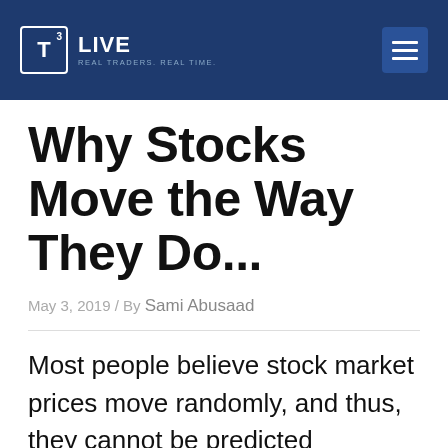T3 LIVE — REAL TRADERS. REAL TIME.
Why Stocks Move the Way They Do...
May 3, 2019 / By Sami Abusaad
Most people believe stock market prices move randomly, and thus, they cannot be predicted